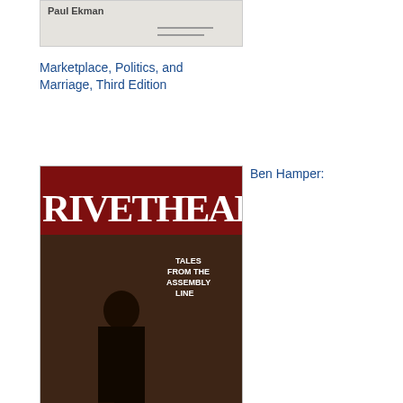[Figure (illustration): Partial book cover for Paul Ekman book - only top portion visible showing author name Paul Ekman and bottom edge of cover]
Marketplace, Politics, and Marriage, Third Edition
[Figure (illustration): Book cover for Rivethead: Tales from the Assembly Line by Ben Hamper - dark cover with man leaning against wall, text RIVETHEAD at top]
Ben Hamper:
Rivethead: Tales from the Assembly Line
[Figure (illustration): Book cover for Power: Why Some People Have It and Others Don't by Jeffrey Pfeffer - blue cover with large orange 3D POWER text]
Jeffrey Pfeffer: Power: Why Some People Have It and